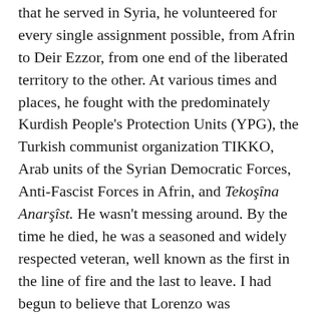that he served in Syria, he volunteered for every single assignment possible, from Afrin to Deir Ezzor, from one end of the liberated territory to the other. At various times and places, he fought with the predominately Kurdish People's Protection Units (YPG), the Turkish communist organization TIKKO, Arab units of the Syrian Democratic Forces, Anti-Fascist Forces in Afrin, and Tekoşîna Anarşîst. He wasn't messing around. By the time he died, he was a seasoned and widely respected veteran, well known as the first in the line of fire and the last to leave. I had begun to believe that Lorenzo was bulletproof—until he wasn't.
That said, Lorenzo was by no means a one-dimensional soldier of fortune. He did not love war for its own sake. He read and wrote constantly. He